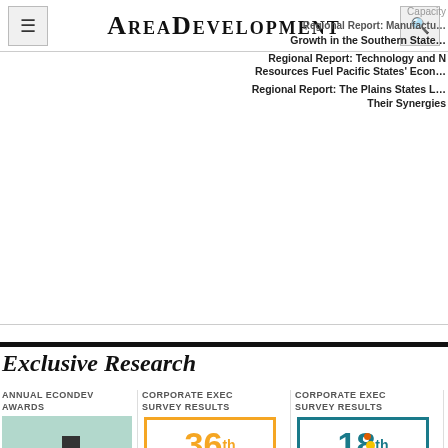AreaDevelopment
Capacity
Regional Report: Manufacturing Growth in the Southern States
Regional Report: Technology and Natural Resources Fuel Pacific States' Economy
Regional Report: The Plains States Leverage Their Synergies
Exclusive Research
ANNUAL ECONDEV AWARDS
[Figure (illustration): Illustrated image for Annual EconDev Awards]
Area Development's 17th Annual
CORPORATE EXEC SURVEY RESULTS
[Figure (illustration): 36th Annual Corporate Survey badge - orange border with large orange 36th text and red CORPORATE SURVEY text]
36th Annual Corporate Survey: Executives Focus
CORPORATE EXEC SURVEY RESULTS
[Figure (illustration): 18th Annual Consultants Survey badge - teal border with teal 18th text and gold CONSULTANTS SURVEY text]
18th Annual Consultants Survey: Access to
TO BU
Th To fo Bi